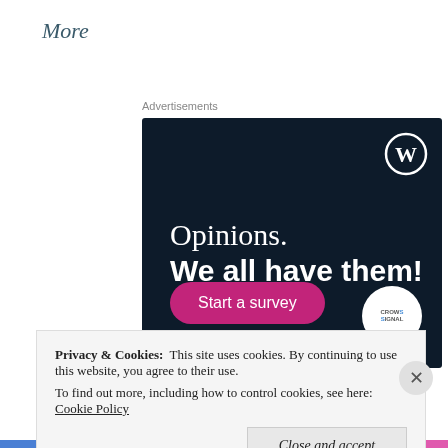More
Advertisements
[Figure (illustration): WordPress/Crowdsignal advertisement on dark navy background. Shows WordPress logo (W in circle) top right, text 'Opinions. We all have them!', a pink 'Start a survey' button, and Crowdsignal logo circle bottom right.]
Privacy & Cookies:  This site uses cookies. By continuing to use this website, you agree to their use.
To find out more, including how to control cookies, see here: Cookie Policy
Close and accept